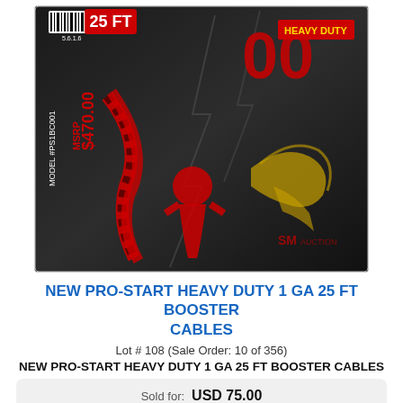[Figure (photo): Product photo of Pro-Start Heavy Duty 1 GA 25 FT Booster Cables in packaging, showing the box with MSRP $470.00, Model #PS1BC001, Professional Series Booster Cable label, with red/black cables visible and eagle graphic]
NEW PRO-START HEAVY DUTY 1 GA 25 FT BOOSTER CABLES
Lot # 108 (Sale Order: 10 of 356)
NEW PRO-START HEAVY DUTY 1 GA 25 FT BOOSTER CABLES
Sold for: USD 75.00
to onsite